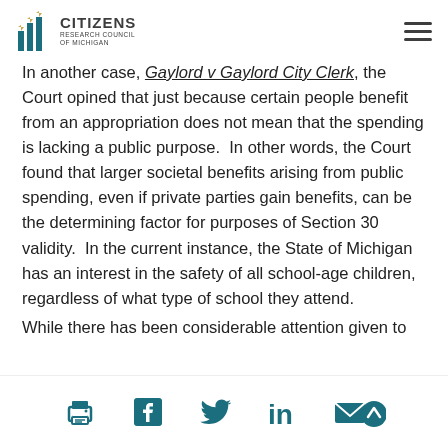Citizens Research Council of Michigan
In another case, Gaylord v Gaylord City Clerk, the Court opined that just because certain people benefit from an appropriation does not mean that the spending is lacking a public purpose.  In other words, the Court found that larger societal benefits arising from public spending, even if private parties gain benefits, can be the determining factor for purposes of Section 30 validity.  In the current instance, the State of Michigan has an interest in the safety of all school-age children, regardless of what type of school they attend.
While there has been considerable attention given to
Print | Facebook | Twitter | LinkedIn | Email | Back to top